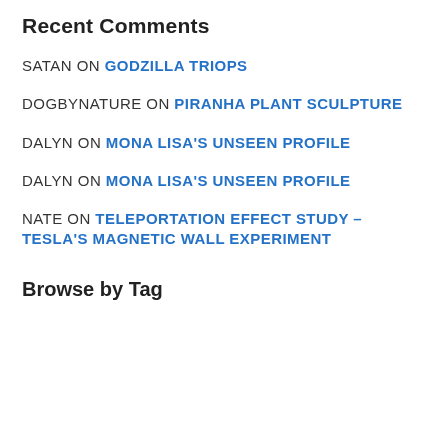Recent Comments
SATAN ON GODZILLA TRIOPS
DOGBYNATURE ON PIRANHA PLANT SCULPTURE
DALYN ON MONA LISA'S UNSEEN PROFILE
DALYN ON MONA LISA'S UNSEEN PROFILE
NATE ON TELEPORTATION EFFECT STUDY – TESLA'S MAGNETIC WALL EXPERIMENT
Browse by Tag